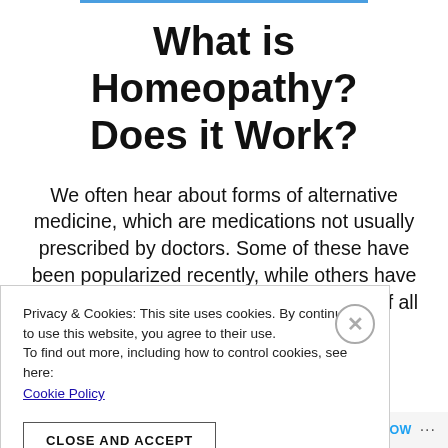What is Homeopathy? Does it Work?
We often hear about forms of alternative medicine, which are medications not usually prescribed by doctors. Some of these have been popularized recently, while others have been passed down for generations. Out of all of these, homeopathy has
Privacy & Cookies: This site uses cookies. By continuing to use this website, you agree to their use.
To find out more, including how to control cookies, see here:
Cookie Policy
CLOSE AND ACCEPT